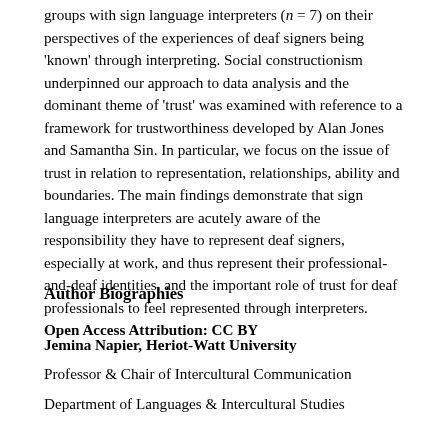groups with sign language interpreters (n = 7) on their perspectives of the experiences of deaf signers being 'known' through interpreting. Social constructionism underpinned our approach to data analysis and the dominant theme of 'trust' was examined with reference to a framework for trustworthiness developed by Alan Jones and Samantha Sin. In particular, we focus on the issue of trust in relation to representation, relationships, ability and boundaries. The main findings demonstrate that sign language interpreters are acutely aware of the responsibility they have to represent deaf signers, especially at work, and thus represent their professional-and-deaf identities, and the important role of trust for deaf professionals to feel represented through interpreters.    Open Access Attribution: CC BY
Author Biographies
Jemina Napier, Heriot-Watt University
Professor & Chair of Intercultural Communication
Department of Languages & Intercultural Studies